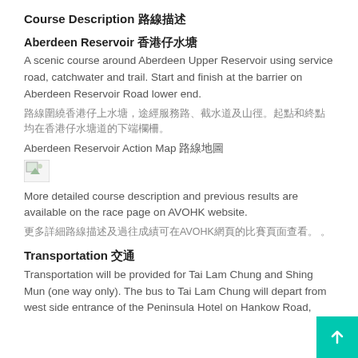Course Description 路線描述
Aberdeen Reservoir 香港仔水塘
A scenic course around Aberdeen Upper Reservoir using service road, catchwater and trail. Start and finish at the barrier on Aberdeen Reservoir Road lower end.
路線圍繞香港仔上水塘，途經服務路、截水道及山徑。起點和終點均在香港仔水塘道的下端欄柵。
Aberdeen Reservoir Action Map 路線地圖
[Figure (photo): Broken image placeholder for Aberdeen Reservoir Action Map]
More detailed course description and previous results are available on the race page on AVOHK website.
更多詳細路線描述及過往成績可在AVOHK網頁的比賽頁面查看。
Transportation 交通
Transportation will be provided for Tai Lam Chung and Shing Mun (one way only). The bus to Tai Lam Chung will depart from west side entrance of the Peninsula Hotel on Hankow Road,